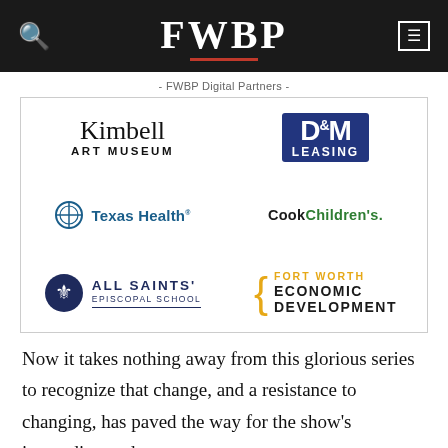FWBP
- FWBP Digital Partners -
[Figure (logo): Grid of 6 sponsor logos: Kimbell Art Museum, D&M Leasing, Texas Health, Cook Children's, All Saints' Episcopal School, Fort Worth Economic Development]
Now it takes nothing away from this glorious series to recognize that change, and a resistance to changing, has paved the way for the show's impending end.